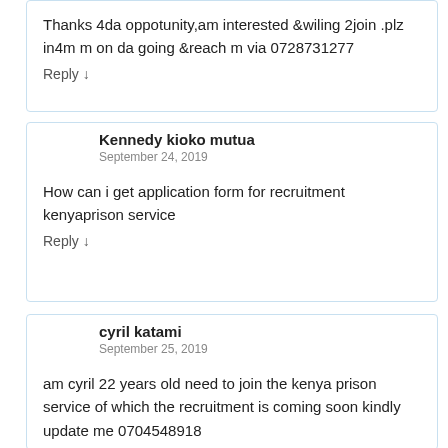Thanks 4da oppotunity,am interested &wiling 2join .plz in4m m on da going &reach m via 0728731277
Reply ↓
Kennedy kioko mutua
September 24, 2019
How can i get application form for recruitment kenyaprison service
Reply ↓
cyril katami
September 25, 2019
am cyril 22 years old need to join the kenya prison service of which the recruitment is coming soon kindly update me 0704548918